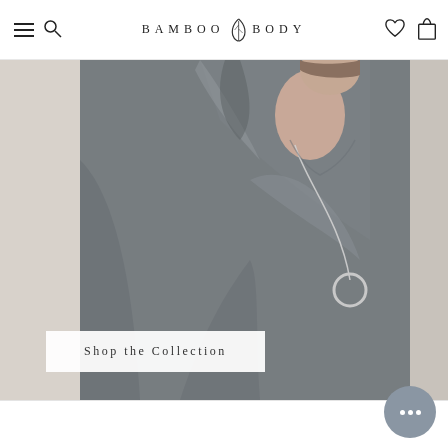Bamboo Body — navigation bar with hamburger menu, search, logo, wishlist, and bag icons
[Figure (photo): Woman wearing a grey bamboo long-sleeve top with a silver circle necklace, arm raised, standing against a neutral background]
Shop the Collection